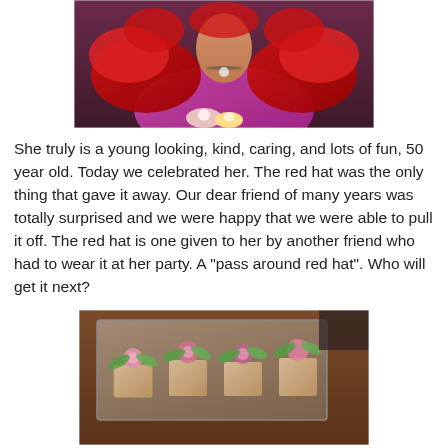[Figure (photo): Woman wearing a red feather boa and holding flowers, photo cropped at shoulders showing necklace and pink/magenta top]
She truly is a young looking, kind, caring, and lots of fun, 50 year old. Today we celebrated her. The red hat was the only thing that gave it away. Our dear friend of many years was totally surprised and we were happy that we were able to pull it off. The red hat is one given to her by another friend who had to wear it at her party. A "pass around red hat". Who will get it next?
[Figure (photo): Table display with small floral arrangements featuring pink and green flowers on gift boxes or frames]